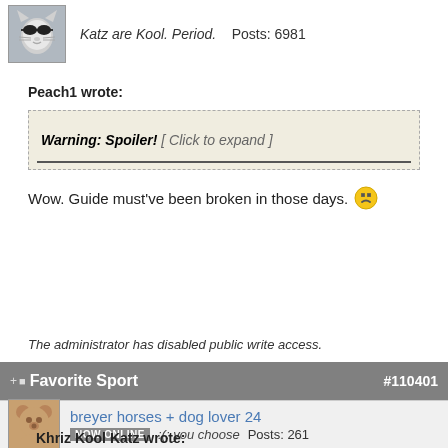Katz are Kool. Period.    Posts: 6981
Peach1 wrote:
Warning: Spoiler!  [ Click to expand ]
Wow. Guide must've been broken in those days. 😠
The administrator has disabled public write access.
Favorite Sport   #110401
breyer horses + dog lover 24
NOW ONLINE   :(: you choose   Posts: 261
Khriz Kool Katz wrote: